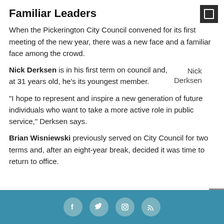Familiar Leaders
When the Pickerington City Council convened for its first meeting of the new year, there was a new face and a familiar face among the crowd.
Nick Derksen is in his first term on council and, at 31 years old, he's its youngest member.
Nick Derksen
“I hope to represent and inspire a new generation of future individuals who want to take a more active role in public service,” Derksen says.
Brian Wisniewski previously served on City Council for two terms and, after an eight-year break, decided it was time to return to office.
Social media links: Facebook, Twitter, Instagram, RSS